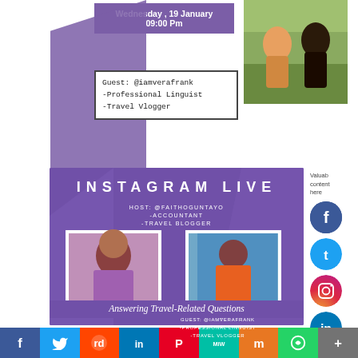Wednesday , 19 January
09:00 Pm
[Figure (photo): Two women sitting outdoors near water with mountains in background]
Guest: @iamverafrank
-Professional Linguist
-Travel Vlogger
[Figure (infographic): Instagram Live promotional card with purple background showing host @faithoguntayo (Accountant, Travel Blogger) and guest @iamverafrank (Professional Linguist, Travel Vlogger) on Wednesday 19th Jan 2022 at 9PM, topic: Answering Travel-Related Questions]
Valuable
content
here
[Figure (logo): Facebook social media icon - circular blue]
[Figure (logo): Twitter social media icon - circular blue]
[Figure (logo): Instagram social media icon - circular gradient]
[Figure (logo): LinkedIn social media icon - circular blue]
f  Twitter  Reddit  in  Pinterest  MeWe  Mix  WhatsApp  More